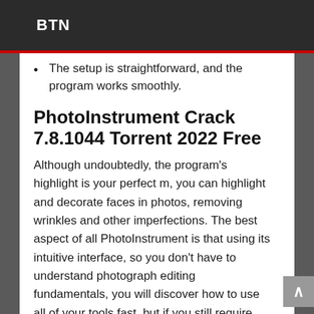BTN
The setup is straightforward, and the program works smoothly.
PhotoInstrument Crack 7.8.1044 Torrent 2022 Free
Although undoubtedly, the program’s highlight is your perfect m, you can highlight and decorate faces in photos, removing wrinkles and other imperfections. The best aspect of all PhotoInstrument is that using its intuitive interface, so you don’t have to understand photograph editing fundamentals, you will discover how to use all of your tools fast, but if you still require assistance, this fantastic photo editor will reveal a tutorial for every effect that you would like to carry out.
Key Features:
Using these tools is intuitive, and each can be customized.
The size of the brush to the red-eye effect may be shifted.